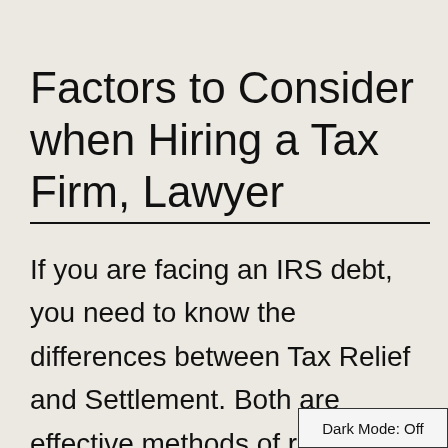Factors to Consider when Hiring a Tax Firm, Lawyer
If you are facing an IRS debt, you need to know the differences between Tax Relief and Settlement. Both are effective methods of reducing your debt. While tax relief is a process where you pay less than you owe, settlement is only an option if you cannot afford to pay your debt. The IRS has sev
Dark Mode: Off